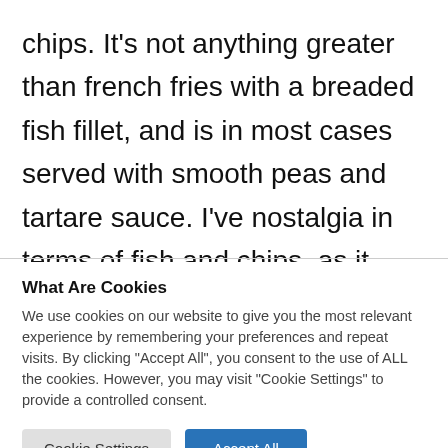chips. It's not anything greater than french fries with a breaded fish fillet, and is in most cases served with smooth peas and tartare sauce. I've nostalgia in terms of fish and chips, as it used to be my first meal right here in Eire. I used to be ravenous to demise after my travels, and the nearest position to consume used to be probably
What Are Cookies
We use cookies on our website to give you the most relevant experience by remembering your preferences and repeat visits. By clicking "Accept All", you consent to the use of ALL the cookies. However, you may visit "Cookie Settings" to provide a controlled consent.